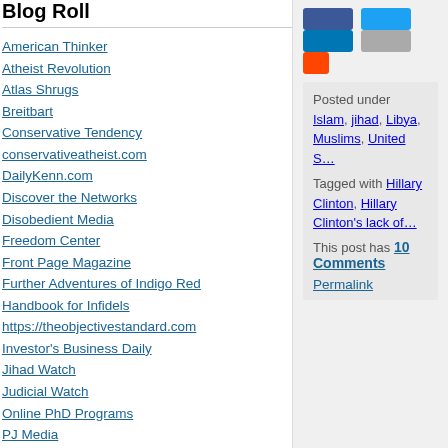Blog Roll
American Thinker
Atheist Revolution
Atlas Shrugs
Breitbart
Conservative Tendency
conservativeatheist.com
DailyKenn.com
Discover the Networks
Disobedient Media
Freedom Center
Front Page Magazine
Further Adventures of Indigo Red
Handbook for Infidels
https://theobjectivestandard.com
Investor's Business Daily
Jihad Watch
Judicial Watch
Online PhD Programs
PJ Media
Power Line
Republican Atheists
Respvblica
Savvy Street
Secular Conservative
Secular Right
Steyn on Line
Sultan Knish
The Freedom Association
The Objective Standard
The Religion of Peace
Posted under Islam, jihad, Libya, Muslims, United S...
Tagged with Hillary Clinton, Hillary Clinton's lack of...
This post has 10 Comments
Permalink